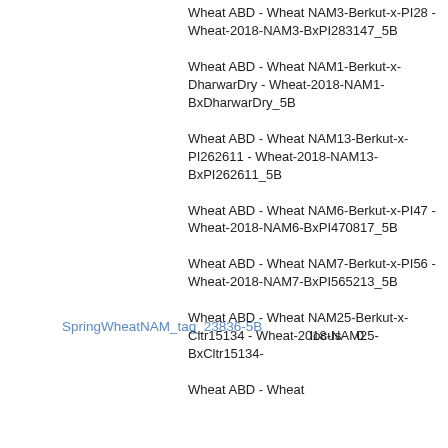SpringWheatNAM_tag_23836-5B
locus  0
Wheat ABD - Wheat NAM3-Berkut-x-PI28 - Wheat-2018-NAM3-BxPI283147_5B
Wheat ABD - Wheat NAM1-Berkut-x-DharwarDry - Wheat-2018-NAM1-BxDharwarDry_5B
Wheat ABD - Wheat NAM13-Berkut-x-PI262611 - Wheat-2018-NAM13-BxPI262611_5B
Wheat ABD - Wheat NAM6-Berkut-x-PI47 - Wheat-2018-NAM6-BxPI470817_5B
Wheat ABD - Wheat NAM7-Berkut-x-PI56 - Wheat-2018-NAM7-BxPI565213_5B
Wheat ABD - Wheat NAM25-Berkut-x-Cltr15134 - Wheat-2018-NAM25-BxCltr15134-
Wheat ABD - Wheat